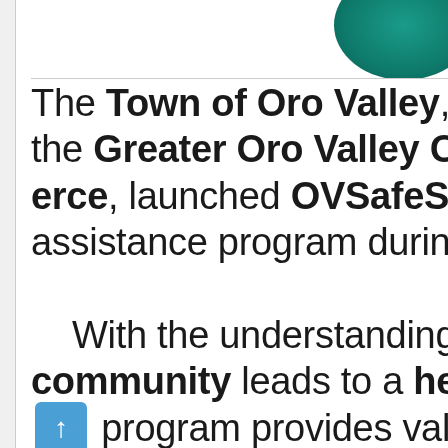[Figure (logo): Partial teal/green circular logo in upper right corner]
The Town of Oro Valley, in conjunction with the Greater Oro Valley Chamber of Commerce, launched OVSafeSteps, a business assistance program during the pandemic. With the understanding that a healthy community leads to a healthy economy, [scroll button] provides valuable resources asking businesses and community members to comply with health guidelines with...